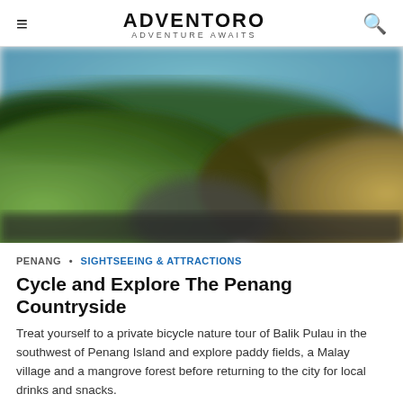ADVENTORO — ADVENTURE AWAITS
[Figure (photo): A blurred outdoor nature photo showing a road or path through green paddy fields and vegetation, with a blue sky above and golden/yellow tones in the background. The image appears to be taken from a bicycle or low vantage point.]
PENANG • SIGHTSEEING & ATTRACTIONS
Cycle and Explore The Penang Countryside
Treat yourself to a private bicycle nature tour of Balik Pulau in the southwest of Penang Island and explore paddy fields, a Malay village and a mangrove forest before returning to the city for local drinks and snacks.